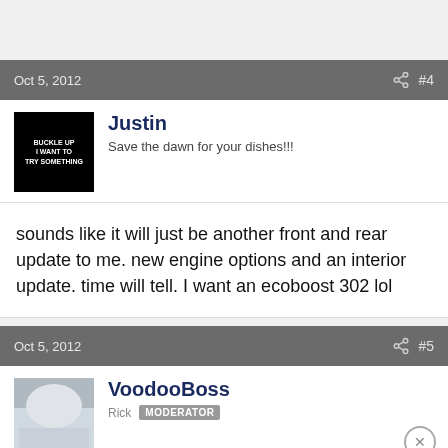Oct 5, 2012   #4
Justin
Save the dawn for your dishes!!!
sounds like it will just be another front and rear update to me. new engine options and an interior update. time will tell. I want an ecoboost 302 lol
Oct 5, 2012   #5
VoodooBoss
Rick  MODERATOR